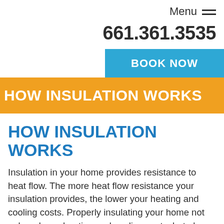Menu
661.361.3535
BOOK NOW
HOW INSULATION WORKS
HOW INSULATION WORKS
Insulation in your home provides resistance to heat flow. The more heat flow resistance your insulation provides, the lower your heating and cooling costs. Properly insulating your home not only reduces heating and cooling costs, but also improves